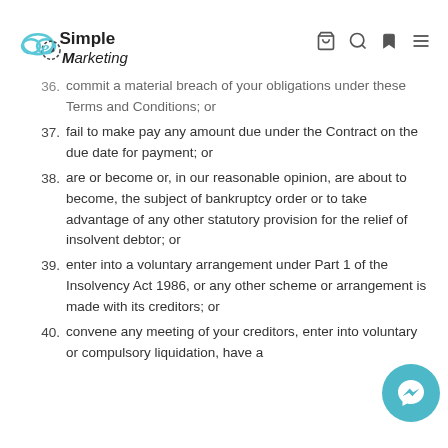eSimple Marketing
36. commit a material breach of your obligations under these Terms and Conditions; or
37. fail to make pay any amount due under the Contract on the due date for payment; or
38. are or become or, in our reasonable opinion, are about to become, the subject of bankruptcy order or to take advantage of any other statutory provision for the relief of insolvent debtor; or
39. enter into a voluntary arrangement under Part 1 of the Insolvency Act 1986, or any other scheme or arrangement is made with its creditors; or
40. convene any meeting of your creditors, enter into voluntary or compulsory liquidation, have a